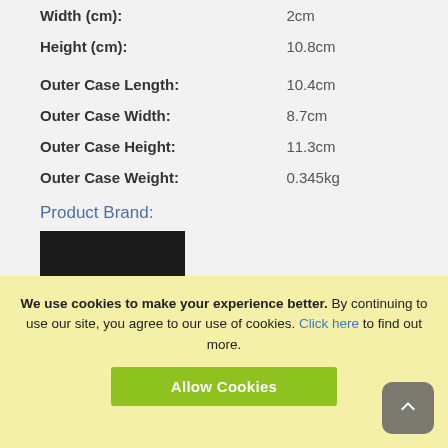| Width (cm): | 2cm |
| Height (cm): | 10.8cm |
| Outer Case Length: | 10.4cm |
| Outer Case Width: | 8.7cm |
| Outer Case Height: | 11.3cm |
| Outer Case Weight: | 0.345kg |
Product Brand:
[Figure (logo): Frumist brand logo — white text 'frumist' with registered trademark symbol on a black square background]
We use cookies to make your experience better. By continuing to use our site, you agree to our use of cookies. Click here to find out more.
Allow Cookies